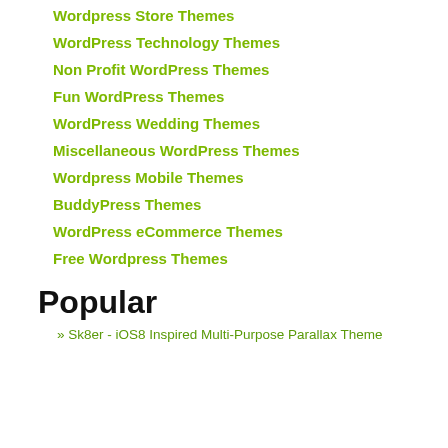Wordpress Store Themes
WordPress Technology Themes
Non Profit WordPress Themes
Fun WordPress Themes
WordPress Wedding Themes
Miscellaneous WordPress Themes
Wordpress Mobile Themes
BuddyPress Themes
WordPress eCommerce Themes
Free Wordpress Themes
Popular
» Sk8er - iOS8 Inspired Multi-Purpose Parallax Theme